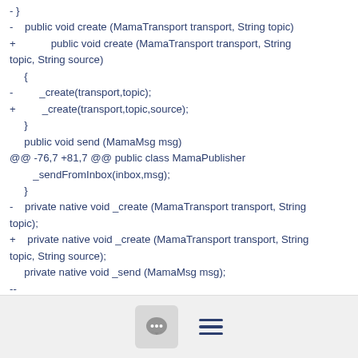- }\n- public void create (MamaTransport transport, String topic)\n+ public void create (MamaTransport transport, String topic, String source)\n    {\n-         _create(transport,topic);\n+         _create(transport,topic,source);\n    }\n    public void send (MamaMsg msg)\n@@ -76,7 +81,7 @@ public class MamaPublisher\n        _sendFromInbox(inbox,msg);\n    }\n- private native void _create (MamaTransport transport, String topic);\n+    private native void _create (MamaTransport transport, String topic, String source);\n    private native void _send (MamaMsg msg);\n--\n1.8.4.msysgit.0
[Figure (other): Footer bar with comment bubble icon button and hamburger menu icon]